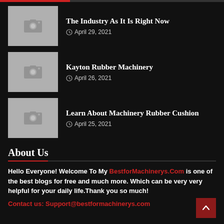The Industry As It Is Right Now — April 29, 2021
Kayton Rubber Machinery — April 26, 2021
Learn About Machinery Rubber Cushion — April 25, 2021
About Us
Hello Everyone! Welcome To My BestforMachinerys.Com is one of the best blogs for free and much more. Which can be very very helpful for your daily life.Thank you so much!
Contact us: Support@bestformachinerys.com